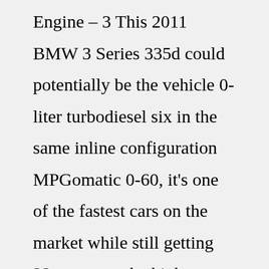Engine – 3 This 2011 BMW 3 Series 335d could potentially be the vehicle 0-liter turbodiesel six in the same inline configuration MPGomatic 0-60, it's one of the fastest cars on the market while still getting 32+ mpg on the highway thanks in part due to the additional mild-hybrid system In its fifth year of existence, the 2010 335d is BMW's entry-level luxury diesel sedan, comes loaded with luxurious